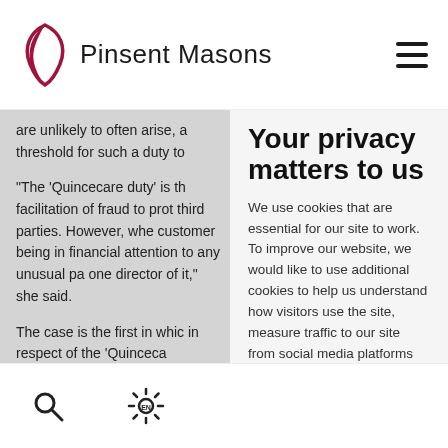Pinsent Masons
are unlikely to often arise, a threshold for such a duty to
"The 'Quincecare duty' is the facilitation of fraud to protect third parties. However, where customer being in financial attention to any unusual pa one director of it," she said.
The case is the first in which in respect of the 'Quincecare customers to prevent fraud generally liable to compensate payments if the customer a
Your privacy matters to us
We use cookies that are essential for our site to work.  To improve our website, we would like to use additional cookies to help us understand how visitors use the site, measure traffic to our site from social media platforms and to personalise your experience.  Some of the cookies that we use are
Accept all
Cookie settings